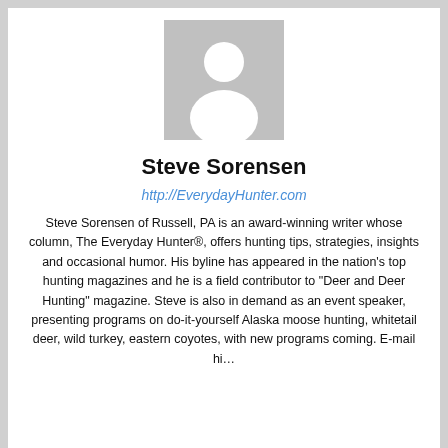[Figure (illustration): Generic user avatar placeholder image — gray background with white silhouette of a person (head and shoulders)]
Steve Sorensen
http://EverydayHunter.com
Steve Sorensen of Russell, PA is an award-winning writer whose column, The Everyday Hunter®, offers hunting tips, strategies, insights and occasional humor. His byline has appeared in the nation's top hunting magazines and he is a field contributor to "Deer and Deer Hunting" magazine. Steve is also in demand as an event speaker, presenting programs on do-it-yourself Alaska moose hunting, whitetail deer, wild turkey, eastern coyotes, with new programs coming. E-mail him at EverydayHunter@gmail.com to invite him to speak at your next